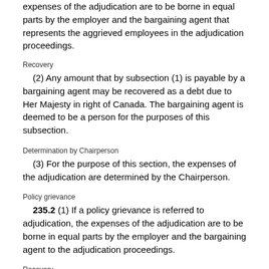expenses of the adjudication are to be borne in equal parts by the employer and the bargaining agent that represents the aggrieved employees in the adjudication proceedings.
Recovery
(2) Any amount that by subsection (1) is payable by a bargaining agent may be recovered as a debt due to Her Majesty in right of Canada. The bargaining agent is deemed to be a person for the purposes of this subsection.
Determination by Chairperson
(3) For the purpose of this section, the expenses of the adjudication are determined by the Chairperson.
Policy grievance
235.2 (1) If a policy grievance is referred to adjudication, the expenses of the adjudication are to be borne in equal parts by the employer and the bargaining agent to the adjudication proceedings.
Recovery
(2) Any amount that by subsection (1) is payable by a bargaining agent may be recovered as a debt due to Her